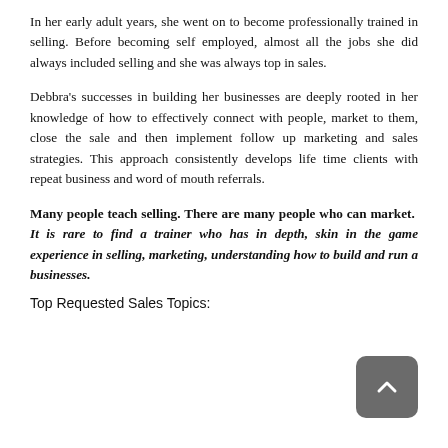In her early adult years, she went on to become professionally trained in selling. Before becoming self employed, almost all the jobs she did always included selling and she was always top in sales.
Debbra's successes in building her businesses are deeply rooted in her knowledge of how to effectively connect with people, market to them, close the sale and then implement follow up marketing and sales strategies. This approach consistently develops life time clients with repeat business and word of mouth referrals.
Many people teach selling. There are many people who can market. It is rare to find a trainer who has in depth, skin in the game experience in selling, marketing, understanding how to build and run a businesses.
Top Requested Sales Topics: